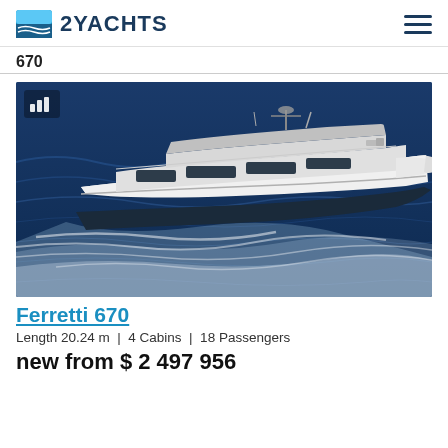2YACHTS
670
[Figure (photo): Aerial/side view of a large white Ferretti 670 motor yacht speeding through dark blue choppy water, leaving a white wake. The yacht has multiple decks, dark-tinted windows, and a flybridge.]
Ferretti 670
Length 20.24 m  |  4 Cabins  |  18 Passengers
new from $ 2 497 956